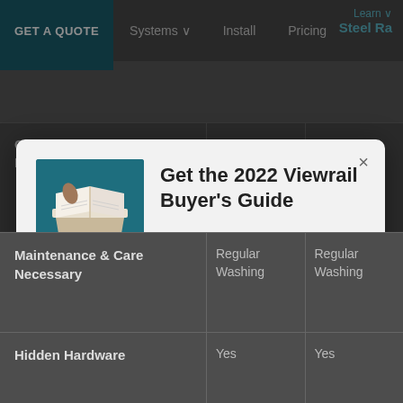GET A QUOTE  Systems  Install  Pricing  Learn  Steel Ra
|  |  |  |
| --- | --- | --- |
| Common in Modern/Contemporary | Yes | Yes |
[Figure (screenshot): Modal popup overlay showing Get the 2022 Viewrail Buyer's Guide with a book image, description text, and Download Now button]
Get the 2022 Viewrail Buyer's Guide
An introduction to who we are, what we offer, and how we can help you thrive by bringing your vision to life.
Download Now
|  |  |  |
| --- | --- | --- |
| Maintenance & Care Necessary | Regular Washing | Regular Washing |
| Hidden Hardware | Yes | Yes |